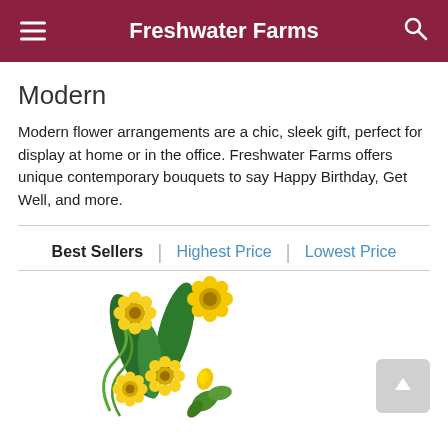Freshwater Farms
Modern
Modern flower arrangements are a chic, sleek gift, perfect for display at home or in the office. Freshwater Farms offers unique contemporary bouquets to say Happy Birthday, Get Well, and more.
Best Sellers | Highest Price | Lowest Price
[Figure (photo): A yellow flower bouquet arrangement with gerbera daisies and green foliage in a modern style.]